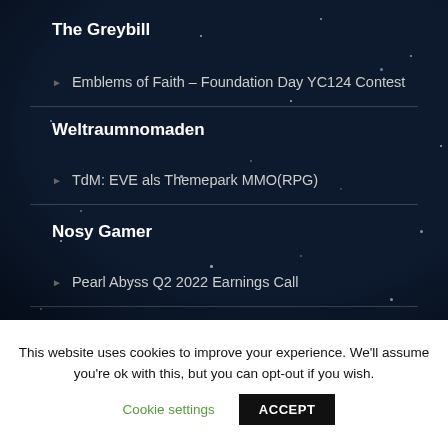The Greybill
Emblems of Faith – Foundation Day YC124 Contest
Weltraumnomaden
TdM: EVE als Themepark MMO(RPG)
Nosy Gamer
Pearl Abyss Q2 2022 Earnings Call
This website uses cookies to improve your experience. We'll assume you're ok with this, but you can opt-out if you wish.
Cookie settings
ACCEPT